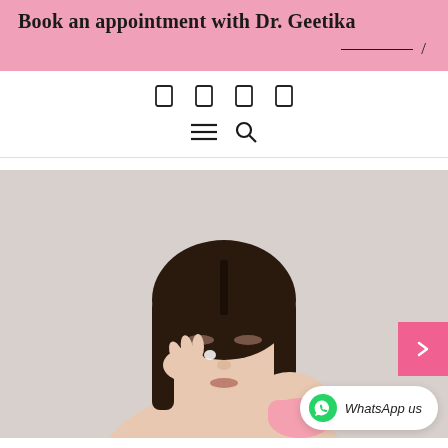Book an appointment with Dr. Geetika
[Figure (screenshot): Navigation bar with social media icons (rectangles), hamburger menu and search icon]
[Figure (photo): Woman with dark hair and closed eyes applying skincare cream to her face, holding a pink jar, on a light grey background. A pink arrow button is visible on the right, and a WhatsApp Us bubble button is at the bottom right.]